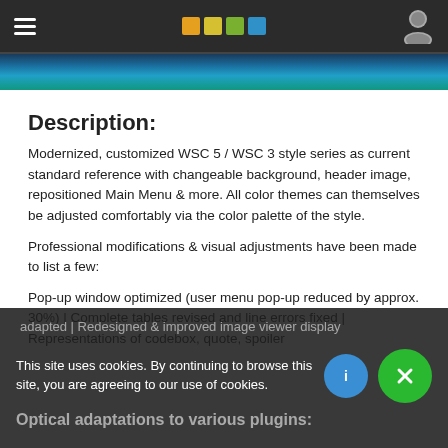Navigation header with hamburger menu, colored squares logo, and user icon
[Figure (photo): Teal/blue header image strip at top of content]
Description:
Modernized, customized WSC 5 / WSC 3 style series as current standard reference with changeable background, header image, repositioned Main Menu & more. All color themes can themselves be adjusted comfortably via the color palette of the style.
Professional modifications & visual adjustments have been made to list a few:
Pop-up window optimized (user menu pop-up reduced by approx. 30%) | Complete tables revised and line errors fixed | Representations of codebox, quote, spoiler adapted | Redesigned & improved image viewer display
Optical adaptations to various plugins:
This site uses cookies. By continuing to browse this site, you are agreeing to our use of cookies.